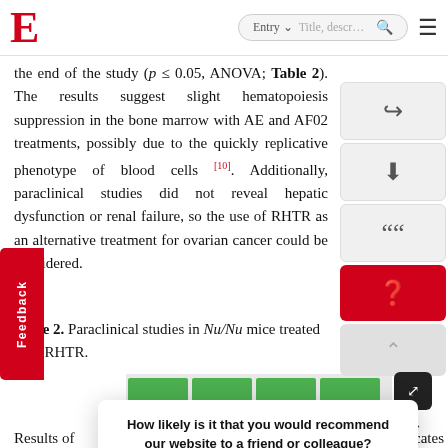E  [search bar]  ☰
the end of the study (p ≤ 0.05, ANOVA; Table 2). The results suggest slight hematopoiesis suppression in the bone marrow with AE and AF02 treatments, possibly due to the quickly replicative phenotype of blood cells [10]. Additionally, paraclinical studies did not reveal hepatic dysfunction or renal failure, so the use of RHTR as an alternative treatment for ovarian cancer could be considered.
Table 2. Paraclinical studies in Nu/Nu mice treated with RHTR.
[Figure (table-as-image): Green striped table header row preview]
Results of ... replicates